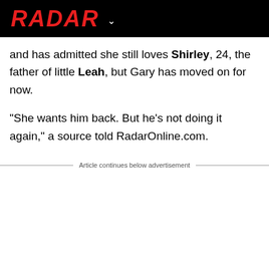RADAR
and has admitted she still loves Shirley, 24, the father of little Leah, but Gary has moved on for now.
"She wants him back. But he's not doing it again," a source told RadarOnline.com.
Article continues below advertisement